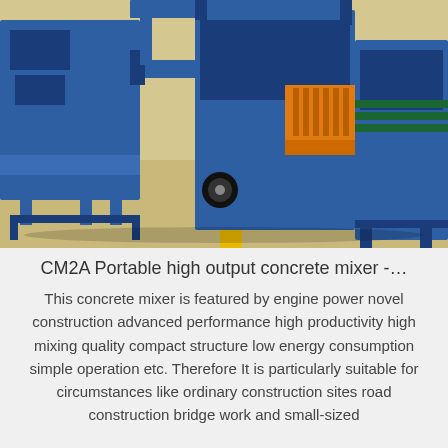[Figure (photo): Industrial concrete block making machines in a factory setting. Large blue steel frame machines with orange mechanical components, arranged on a concrete floor in a manufacturing facility.]
CM2A Portable high output concrete mixer -…
This concrete mixer is featured by engine power novel construction advanced performance high productivity high mixing quality compact structure low energy consumption simple operation etc. Therefore It is particularly suitable for circumstances like ordinary construction sites road construction bridge work and small-sized